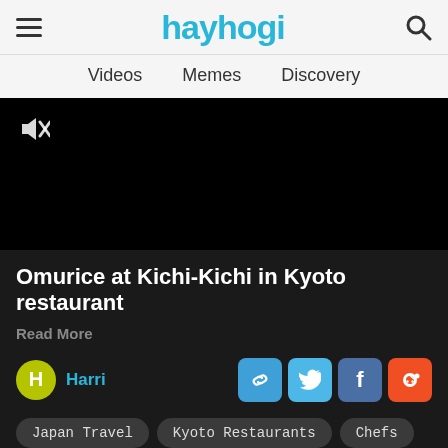hayhogi — Videos  Memes  Discovery
[Figure (screenshot): Black video player area with muted/sound-off icon in upper left]
Omurice at Kichi-Kichi in Kyoto restaurant
Read More
Harri
Share buttons: link, Twitter, Facebook, Reddit
Japan Travel
Kyoto Restaurants
Chefs
Delicious Food
Kitchen Equipment